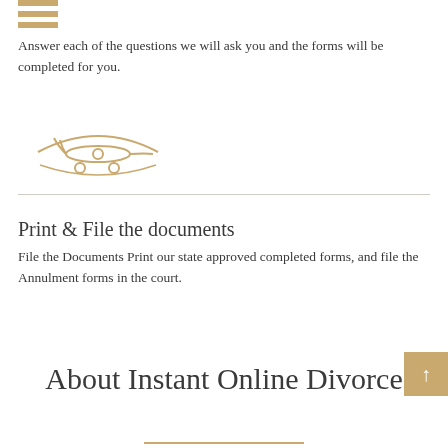[Figure (illustration): Hamburger/menu icon with three horizontal brown/gold bars]
Answer each of the questions we will ask you and the forms will be completed for you.
[Figure (illustration): Gold line-art airplane icon with wings and landing gear]
Print & File the documents
File the Documents Print our state approved completed forms, and file the Annulment forms in the court.
About Instant Online Divorce